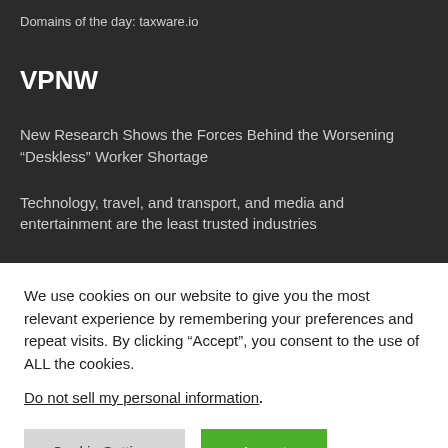Domains of the day: taxware.io
VPNW
New Research Shows the Forces Behind the Worsening “Deskless” Worker Shortage
Technology, travel, and transport, and media and entertainment are the least trusted industries
We use cookies on our website to give you the most relevant experience by remembering your preferences and repeat visits. By clicking “Accept”, you consent to the use of ALL the cookies.
Do not sell my personal information.
Cookie Settings   Accept